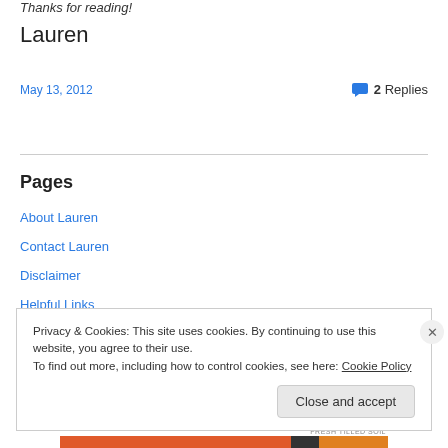Thanks for reading!
Lauren
May 13, 2012
2 Replies
Pages
About Lauren
Contact Lauren
Disclaimer
Helpful Links
Privacy & Cookies: This site uses cookies. By continuing to use this website, you agree to their use.
To find out more, including how to control cookies, see here: Cookie Policy
Close and accept